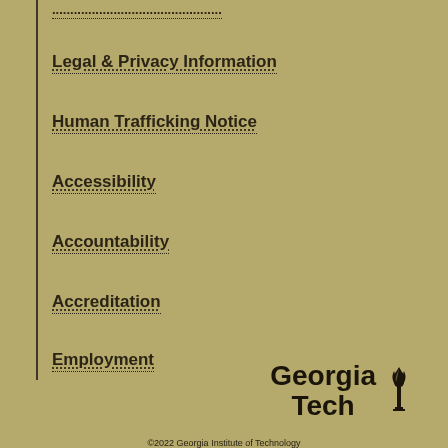Legal & Privacy Information
Human Trafficking Notice
Accessibility
Accountability
Accreditation
Employment
[Figure (logo): Georgia Tech logo with text 'Georgia Tech' and a stylized torch/flame icon]
©2022 Georgia Institute of Technology